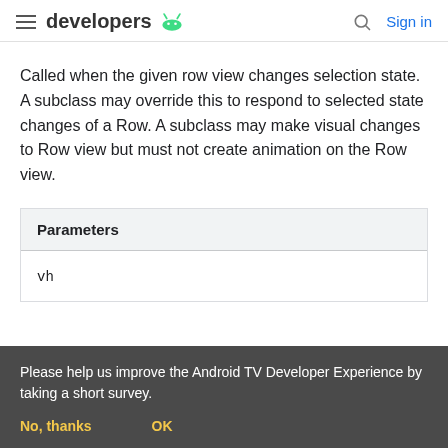developers [Android logo] | Search | Sign in
Called when the given row view changes selection state. A subclass may override this to respond to selected state changes of a Row. A subclass may make visual changes to Row view but must not create animation on the Row view.
| Parameters |
| --- |
| vh |
Please help us improve the Android TV Developer Experience by taking a short survey.
No, thanks    OK